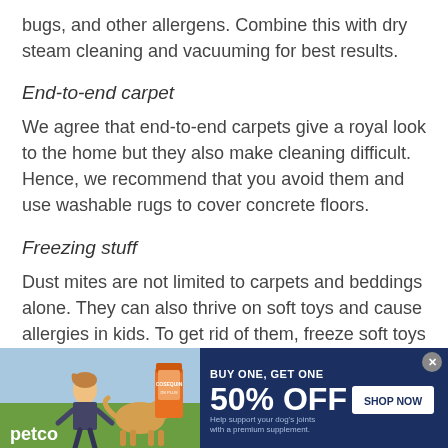bugs, and other allergens. Combine this with dry steam cleaning and vacuuming for best results.
End-to-end carpet
We agree that end-to-end carpets give a royal look to the home but they also make cleaning difficult. Hence, we recommend that you avoid them and use washable rugs to cover concrete floors.
Freezing stuff
Dust mites are not limited to carpets and beddings alone. They can also thrive on soft toys and cause allergies in kids. To get rid of them, freeze soft toys in a tightly closed vacuum bag and then shake
[Figure (infographic): Petco advertisement banner: BUY ONE, GET ONE 50% OFF on dog joint supplement. Features image of woman with a golden retriever and product bottle. Includes SHOP NOW button. Dark navy blue background.]